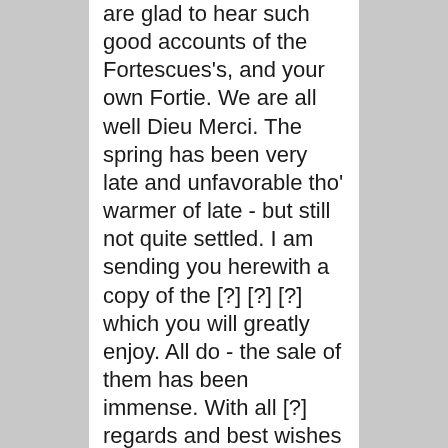are glad to hear such good accounts of the Fortescues's, and your own Fortie. We are all well Dieu Merci. The spring has been very late and unfavorable tho' warmer of late - but still not quite settled. I am sending you herewith a copy of the [?] [?] [?] which you will greatly enjoy. All do - the sale of them has been immense. With all [?] regards and best wishes I remain yours ever sincorely. [?]